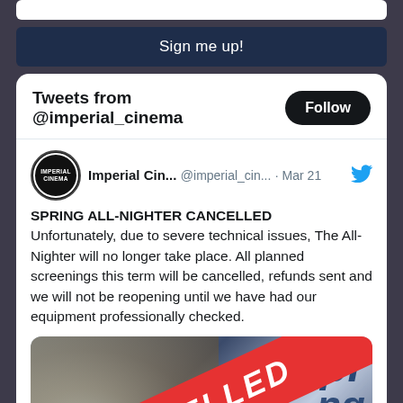[Figure (screenshot): Sign me up! button (dark navy blue)]
Tweets from @imperial_cinema
Imperial Cin...  @imperial_cin...  · Mar 21
SPRING ALL-NIGHTER CANCELLED
Unfortunately, due to severe technical issues, The All-Nighter will no longer take place. All planned screenings this term will be cancelled, refunds sent and we will not be reopening until we have had our equipment professionally checked.
[Figure (photo): Spring All-Nighter event image with a red diagonal CANCELLED banner overlaid]